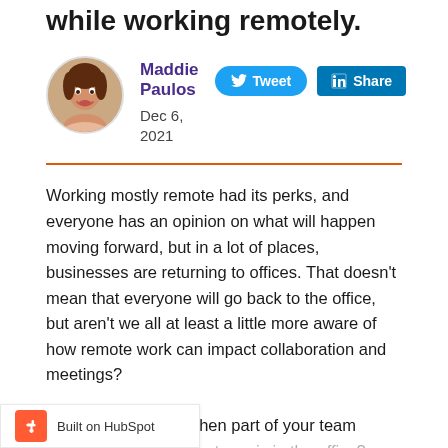while working remotely.
Maddie Paulos
Dec 6, 2021
Working mostly remote had its perks, and everyone has an opinion on what will happen moving forward, but in a lot of places, businesses are returning to offices. That doesn't mean that everyone will go back to the office, but aren't we all at least a little more aware of how remote work can impact collaboration and meetings?

So what do you do when part of your team works other part of the team is in the office?
Built on HubSpot